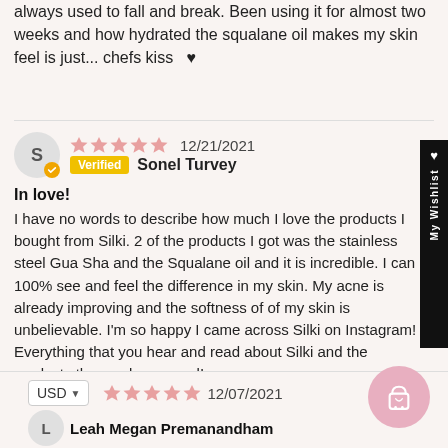always used to fall and break. Been using it for almost two weeks and how hydrated the squalane oil makes my skin feel is just... chefs kiss ♥
12/21/2021 Verified Sonel Turvey
In love!
I have no words to describe how much I love the products I bought from Silki. 2 of the products I got was the stainless steel Gua Sha and the Squalane oil and it is incredible. I can 100% see and feel the difference in my skin. My acne is already improving and the softness of of my skin is unbelievable. I'm so happy I came across Silki on Instagram! Everything that you hear and read about Silki and the products they make are real!
USD 12/07/2021
Leah Megan Premanandham